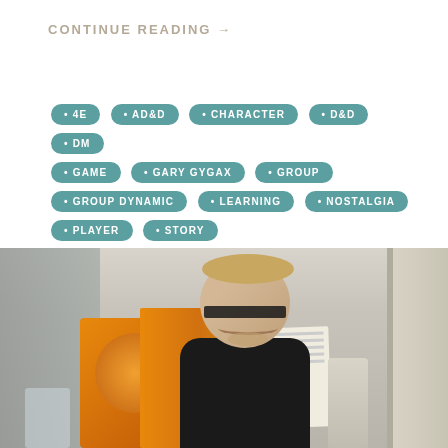CONTINUE READING →
• 4E
• AD&D
• CHARACTER
• D&D
• DM
• GAME
• GARY GYGAX
• GROUP
• GROUP DYNAMIC
• LEARNING
• NOSTALGIA
• PLAYER
• STORY
[Figure (photo): A smiling man with glasses and short blonde hair wearing a black shirt, seated at a table with books, papers, and a cup in front of him, in an indoor setting.]